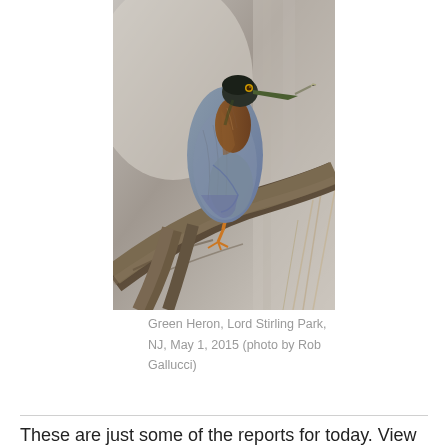[Figure (photo): A Green Heron perched on a bare branch, facing right, with blue-grey plumage and orange legs, holding something in its beak. Background is blurred grey and tan tones.]
Green Heron, Lord Stirling Park, NJ, May 1, 2015 (photo by Rob Gallucci)
These are just some of the reports for today. View local